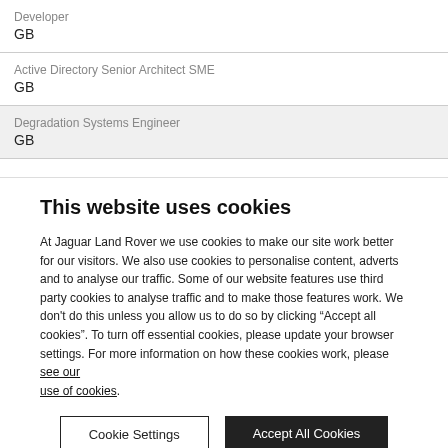Developer
GB
Active Directory Senior Architect SME
GB
Degradation Systems Engineer
GB
This website uses cookies
At Jaguar Land Rover we use cookies to make our site work better for our visitors. We also use cookies to personalise content, adverts and to analyse our traffic. Some of our website features use third party cookies to analyse traffic and to make those features work. We don’t do this unless you allow us to do so by clicking “Accept all cookies”. To turn off essential cookies, please update your browser settings. For more information on how these cookies work, please see our use of cookies.
Cookie Settings
Accept All Cookies